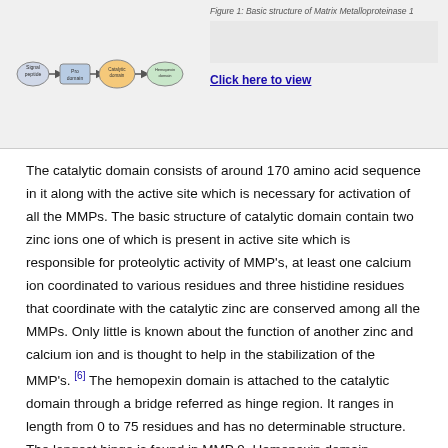[Figure (schematic): Diagram showing domain structure of matrix metalloproteinase with labeled components connected by arrows]
Figure 1: Basic structure of Matrix Metalloproteinase 1
Click here to view
The catalytic domain consists of around 170 amino acid sequence in it along with the active site which is necessary for activation of all the MMPs. The basic structure of catalytic domain contain two zinc ions one of which is present in active site which is responsible for proteolytic activity of MMP's, at least one calcium ion coordinated to various residues and three histidine residues that coordinate with the catalytic zinc are conserved among all the MMPs. Only little is known about the function of another zinc and calcium ion and is thought to help in the stabilization of the MMP's. [6] The hemopexin domain is attached to the catalytic domain through a bridge referred as hinge region. It ranges in length from 0 to 75 residues and has no determinable structure. The longest hinge is found in MMP 9. Hemopexin domain contains around 210 amino acids with highly conserved sequence similar to the plasma protein, hemopexin. This domain helps in binding to substrate and also interacts with tissue inhibitors of matrix metalloproteinases (TIMP's), a specific MMP's protein inhibitor.
The hemopexin domain is an absolute requirement for collagenases to cleave